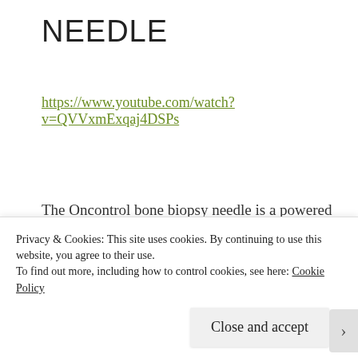NEEDLE
https://www.youtube.com/watch?v=QVVxmExqaj4DSPs
The Oncontrol bone biopsy needle is a powered bone biopsy system used for bone marrow aspiration, but which can be used for biopsy of other bones. The driver runs at a single speed. Care should be taken to ensure the needle does not heat up when accessing
Privacy & Cookies: This site uses cookies. By continuing to use this website, you agree to their use.
To find out more, including how to control cookies, see here: Cookie Policy
Close and accept